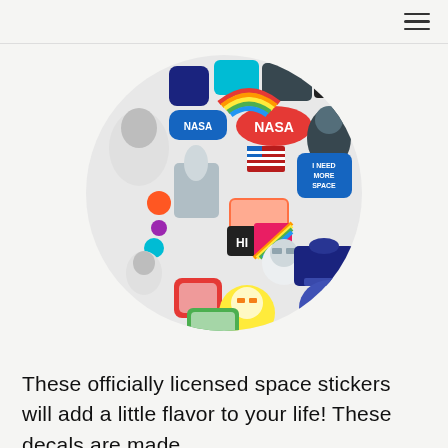≡
[Figure (photo): A large circular collage of colorful space-themed stickers including NASA logos, astronauts, rockets, space shuttles, planets, rainbows, and cartoon space characters arranged in a circle on a light background.]
These officially licensed space stickers will add a little flavor to your life! These decals are made